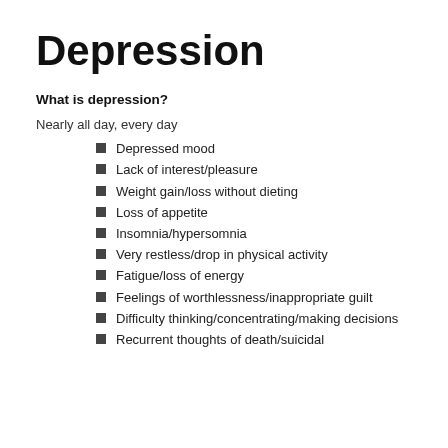Depression
What is depression?
Nearly all day, every day
Depressed mood
Lack of interest/pleasure
Weight gain/loss without dieting
Loss of appetite
Insomnia/hypersomnia
Very restless/drop in physical activity
Fatigue/loss of energy
Feelings of worthlessness/inappropriate guilt
Difficulty thinking/concentrating/making decisions
Recurrent thoughts of death/suicidal